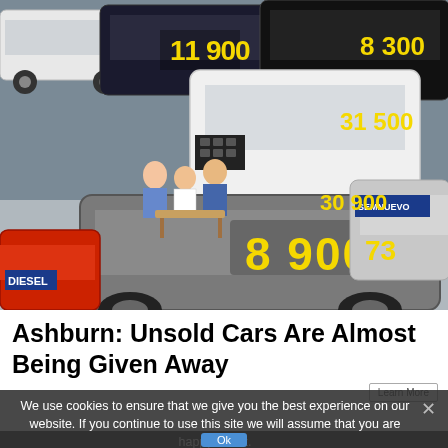[Figure (photo): Overhead view of a crowded car dealership lot with many vehicles on display, yellow price stickers on windshields showing numbers like 8900, 31500, 8300, 30900, 73. People visible browsing and negotiating. Signs include SEMNUEVO and DIESEL.]
Ashburn: Unsold Cars Are Almost Being Given Away
We use cookies to ensure that we give you the best experience on our website. If you continue to use this site we will assume that you are happy with it.